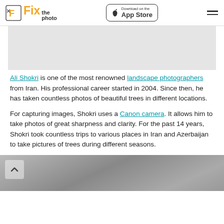Fix the photo — Download on the App Store
[Figure (other): Gray banner placeholder image area]
Ali Shokri is one of the most renowned landscape photographers from Iran. His professional career started in 2004. Since then, he has taken countless photos of beautiful trees in different locations.
For capturing images, Shokri uses a Canon camera. It allows him to take photos of great sharpness and clarity. For the past 14 years, Shokri took countless trips to various places in Iran and Azerbaijan to take pictures of trees during different seasons.
[Figure (photo): Grayscale landscape photo at the bottom of the page, partially visible, with a back-to-top arrow button overlay]